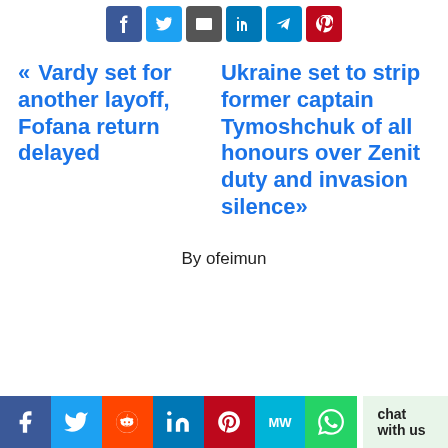[Figure (other): Social share buttons row: Facebook (blue), Twitter (light blue), Email (dark gray), LinkedIn (blue), Telegram (blue), Pinterest (dark red)]
« Vardy set for another layoff, Fofana return delayed
Ukraine set to strip former captain Tymoshchuk of all honours over Zenit duty and invasion silence»
By ofeimun
[Figure (other): Bottom social share bar: Facebook, Twitter, Reddit, LinkedIn, Pinterest, MW, WhatsApp with chat with us text]